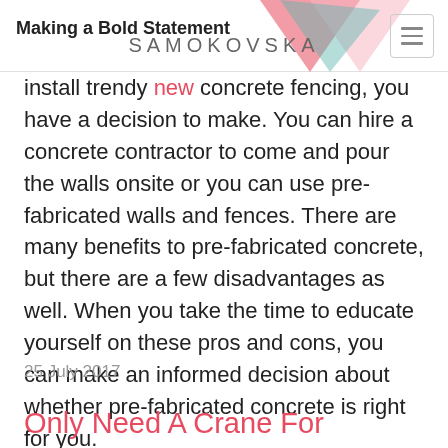Making a Bold Statement | SAMOKOVSKA
install trendy new concrete fencing, you have a decision to make. You can hire a concrete contractor to come and pour the walls onsite or you can use pre-fabricated walls and fences. There are many benefits to pre-fabricated concrete, but there are a few disadvantages as well. When you take the time to educate yourself on these pros and cons, you can make an informed decision about whether pre-fabricated concrete is right for you.
25 July 2017
Only Need A Crane For